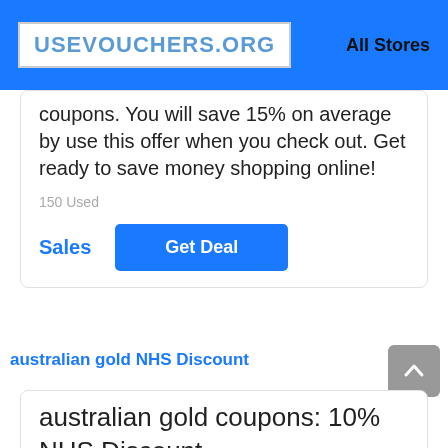USEVOUCHERS.ORG   All Stores
coupons. You will save 15% on average by use this offer when you check out. Get ready to save money shopping online!
150 Used
Sales   Get Deal
australian gold NHS Discount
australian gold coupons: 10% NHS Discount